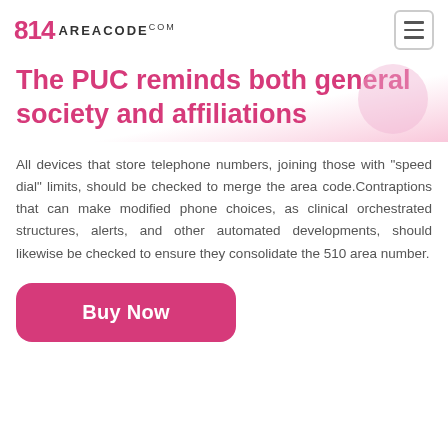814 AREACODE.COM
The PUC reminds both general society and affiliations
All devices that store telephone numbers, joining those with "speed dial" limits, should be checked to merge the area code.Contraptions that can make modified phone choices, as clinical orchestrated structures, alerts, and other automated developments, should likewise be checked to ensure they consolidate the 510 area number.
Buy Now